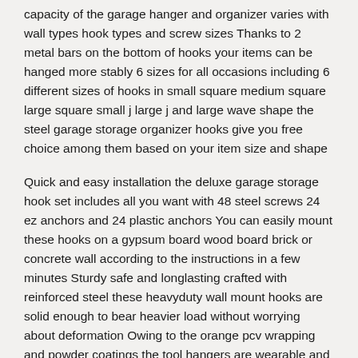capacity of the garage hanger and organizer varies with wall types hook types and screw sizes Thanks to 2 metal bars on the bottom of hooks your items can be hanged more stably 6 sizes for all occasions including 6 different sizes of hooks in small square medium square large square small j large j and large wave shape the steel garage storage organizer hooks give you free choice among them based on your item size and shape
Quick and easy installation the deluxe garage storage hook set includes all you want with 48 steel screws 24 ez anchors and 24 plastic anchors You can easily mount these hooks on a gypsum board wood board brick or concrete wall according to the instructions in a few minutes Sturdy safe and longlasting crafted with reinforced steel these heavyduty wall mount hooks are solid enough to bear heavier load without worrying about deformation Owing to the orange pcv wrapping and powder coatings the tool hangers are wearable and rustfree and can effectively prevent items from slipping being scratched or damaged